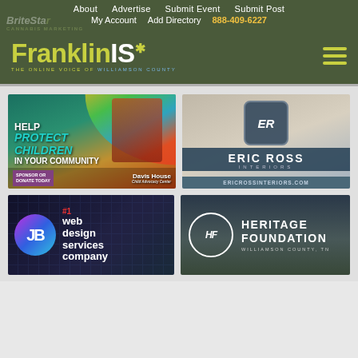About   Advertise   Submit Event   Submit Post   My Account   Add Directory   888-409-6227
[Figure (logo): FranklinIS - The Online Voice of Williamson County logo with hamburger menu]
[Figure (illustration): Davis House Child Advocacy Center ad - Help Protect Children In Your Community, Sponsor or Donate Today]
[Figure (logo): Eric Ross Interiors logo and ad - ericrossinteriors.com]
[Figure (illustration): JB #1 web design services company ad with colorful logo]
[Figure (logo): Heritage Foundation Williamson County TN logo and ad]